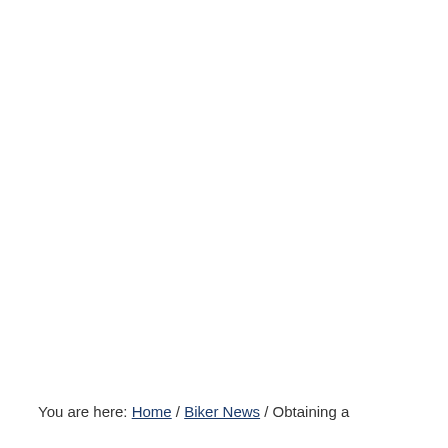You are here: Home / Biker News / Obtaining a